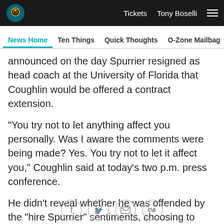Tickets  Tony Boselli
News Home  Ten Things  Quick Thoughts  O-Zone Mailbag  Ros
announced on the day Spurrier resigned as head coach at the University of Florida that Coughlin would be offered a contract extension.
"You try not to let anything affect you personally. Was I aware the comments were being made? Yes. You try not to let it affect you," Coughlin said at today's two p.m. press conference.
He didn't reveal whether he was offended by the "hire Spurrier" sentiments, choosing to answer the question ambiguously.
"It depends how callused you are," he said. "It depends
[Figure (infographic): Social media sharing icons: Facebook, Twitter, Email, and a link/chain icon, arranged horizontally at the bottom of the page.]